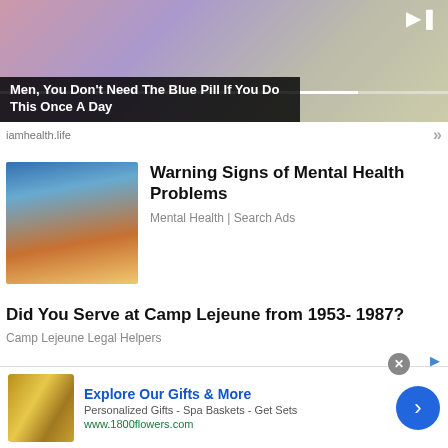[Figure (other): Video ad screenshot showing two people, with play button and progress bar]
Men, You Don't Need The Blue Pill If You Do This Once A Day
iamhealth.life
[Figure (photo): Person sitting on bed in blue-lit room]
Warning Signs of Mental Health Problems
Mental Health | Search Ads
Did You Serve at Camp Lejeune from 1953- 1987?
Camp Lejeune Legal Helpers
[Figure (other): Banner advertisement for 1800flowers.com showing gift basket products]
Explore Our Gifts & More
Personalized Gifts - Spa Baskets - Get Sets
www.1800flowers.com